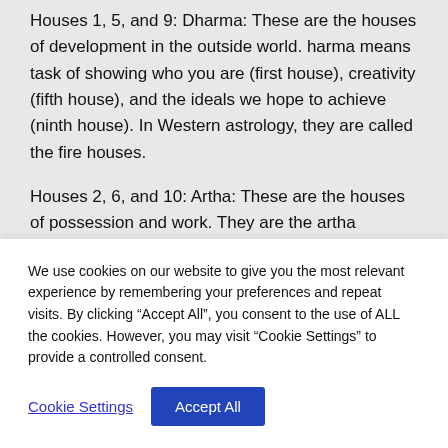Houses 1, 5, and 9: Dharma: These are the houses of development in the outside world. harma means task of showing who you are (first house), creativity (fifth house), and the ideals we hope to achieve (ninth house). In Western astrology, they are called the fire houses.
Houses 2, 6, and 10: Artha: These are the houses of possession and work. They are the artha
We use cookies on our website to give you the most relevant experience by remembering your preferences and repeat visits. By clicking “Accept All”, you consent to the use of ALL the cookies. However, you may visit “Cookie Settings” to provide a controlled consent.
Cookie Settings
Accept All